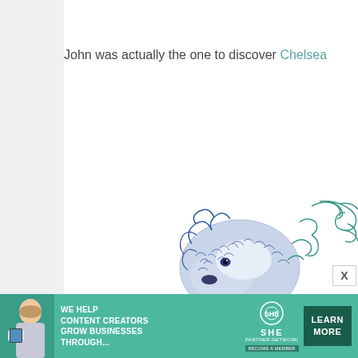John was actually the one to discover Chelsea
[Figure (illustration): Detailed pen-and-ink style illustration of a wolf's head with decorative ornamental swirls in blue and green tones]
[Figure (infographic): Advertisement banner: SHE Media Partner Network - 'We Help Content Creators Grow Businesses Through...' with Learn More button]